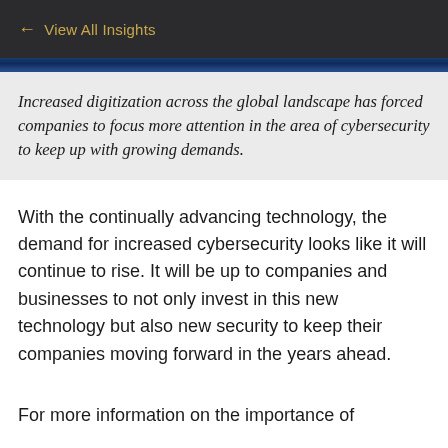← View All Insights
Increased digitization across the global landscape has forced companies to focus more attention in the area of cybersecurity to keep up with growing demands.
With the continually advancing technology, the demand for increased cybersecurity looks like it will continue to rise. It will be up to companies and businesses to not only invest in this new technology but also new security to keep their companies moving forward in the years ahead.
For more information on the importance of